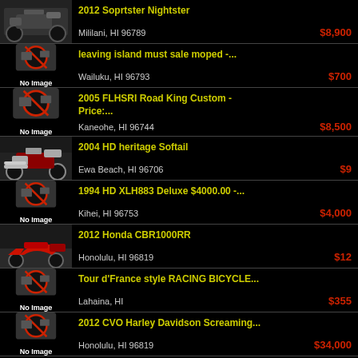2012 Soprtster Nightster | Mililani, HI 96789 | $8,900
leaving island must sale moped -... | Wailuku, HI 96793 | $700
2005 FLHSRI Road King Custom - Price:... | Kaneohe, HI 96744 | $8,500
2004 HD heritage Softail | Ewa Beach, HI 96706 | $9
1994 HD XLH883 Deluxe $4000.00 -... | Kihei, HI 96753 | $4,000
2012 Honda CBR1000RR | Honolulu, HI 96819 | $12
Tour d'France style RACING BICYCLE... | Lahaina, HI | $355
2012 CVO Harley Davidson Screaming... | Honolulu, HI 96819 | $34,000